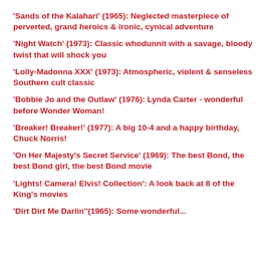'Sands of the Kalahari' (1965): Neglected masterpiece of perverted, grand heroics & ironic, cynical adventure
'Night Watch' (1973): Classic whodunnit with a savage, bloody twist that will shock you
'Lolly-Madonna XXX' (1973): Atmospheric, violent & senseless Southern cult classic
'Bobbie Jo and the Outlaw' (1976): Lynda Carter - wonderful before Wonder Woman!
'Breaker! Breaker!' (1977): A big 10-4 and a happy birthday, Chuck Norris!
'On Her Majesty’s Secret Service' (1969): The best Bond, the best Bond girl, the best Bond movie
'Lights! Camera! Elvis! Collection': A look back at 8 of the King's movies
'Dirt Dirt Me Darlin'' (1965): Some wonderful...